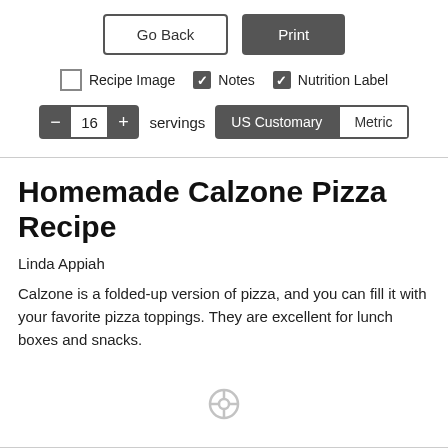[Figure (screenshot): UI controls: Go Back button, Print button, checkboxes for Recipe Image / Notes / Nutrition Label, servings stepper set to 16, and US Customary / Metric toggle]
Homemade Calzone Pizza Recipe
Linda Appiah
Calzone is a folded-up version of pizza, and you can fill it with your favorite pizza toppings. They are excellent for lunch boxes and snacks.